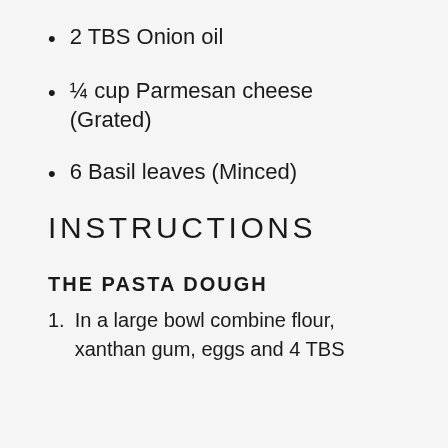2 TBS Onion oil
¼ cup Parmesan cheese (Grated)
6 Basil leaves (Minced)
INSTRUCTIONS
THE PASTA DOUGH
1. In a large bowl combine flour, xanthan gum, eggs and 4 TBS